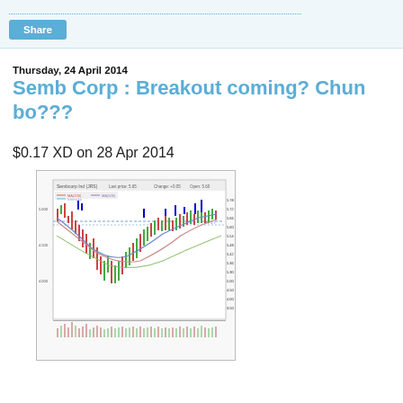Share
Thursday, 24 April 2014
Semb Corp : Breakout coming? Chun bo???
$0.17 XD on 28 Apr 2014
[Figure (screenshot): Stock price chart for Sembcorp Industries showing candlestick price action with moving average lines (blue and green curves), a horizontal dashed resistance line, and volume bars at the bottom. The chart shows a long-term price history with a notable dip and recovery pattern.]